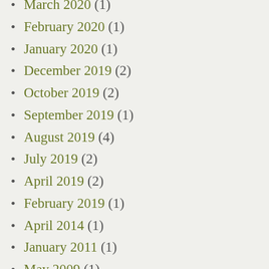March 2020 (1)
February 2020 (1)
January 2020 (1)
December 2019 (2)
October 2019 (2)
September 2019 (1)
August 2019 (4)
July 2019 (2)
April 2019 (2)
February 2019 (1)
April 2014 (1)
January 2011 (1)
May 2009 (1)
September 2008 (1)
July 2008 (2)
June 2008 (1)